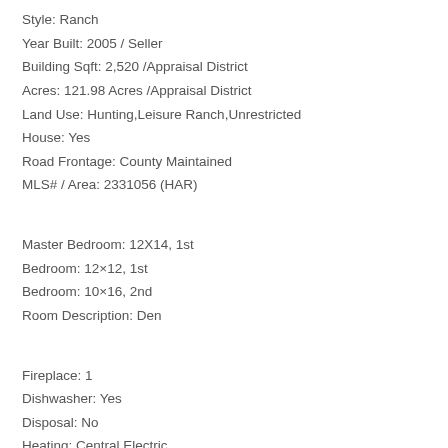Style: Ranch
Year Built: 2005 / Seller
Building Sqft: 2,520 /Appraisal District
Acres: 121.98 Acres /Appraisal District
Land Use: Hunting,Leisure Ranch,Unrestricted
House: Yes
Road Frontage: County Maintained
MLS# / Area: 2331056 (HAR)
Master Bedroom: 12X14, 1st
Bedroom: 12×12, 1st
Bedroom: 10×16, 2nd
Room Description: Den
Fireplace: 1
Dishwasher: Yes
Disposal: No
Heating: Central Electric